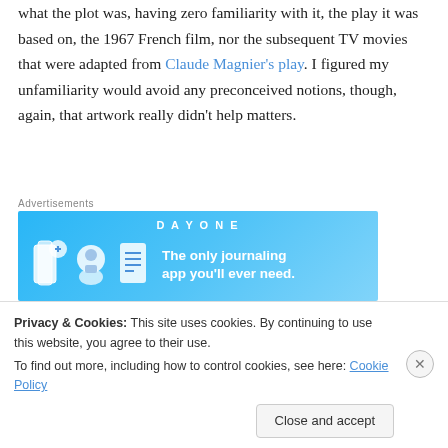what the plot was, having zero familiarity with it, the play it was based on, the 1967 French film, nor the subsequent TV movies that were adapted from Claude Magnier's play. I figured my unfamiliarity would avoid any preconceived notions, though, again, that artwork really didn't help matters.
[Figure (screenshot): Advertisement banner for Day One journaling app with blue background, app icons, and text 'The only journaling app you'll ever need.']
Oscar is the story about a mobster on the day of his
Privacy & Cookies: This site uses cookies. By continuing to use this website, you agree to their use. To find out more, including how to control cookies, see here: Cookie Policy
Close and accept